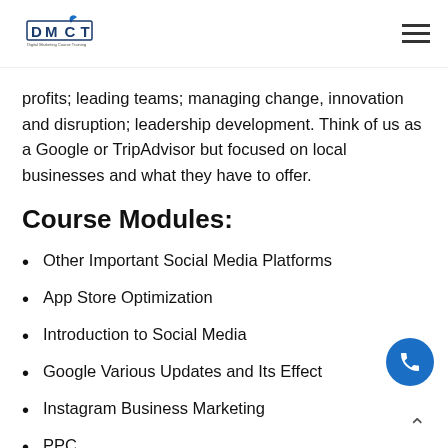DMCT – Digital Marketing Course Training
profits; leading teams; managing change, innovation and disruption; leadership development. Think of us as a Google or TripAdvisor but focused on local businesses and what they have to offer.
Course Modules:
Other Important Social Media Platforms
App Store Optimization
Introduction to Social Media
Google Various Updates and Its Effect
Instagram Business Marketing
PPC